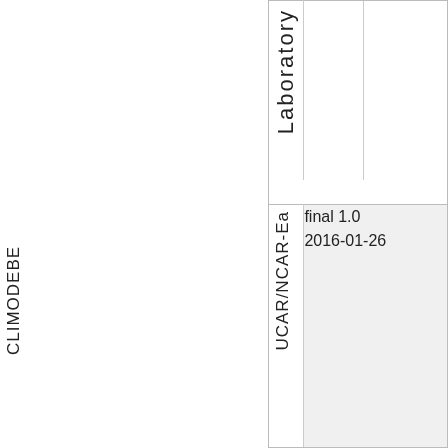|  | Laboratory |  |  |
| CLIM
ODE
BE | UCAR/NCAR-Ea | final 1.0
2016-01-26 |  |